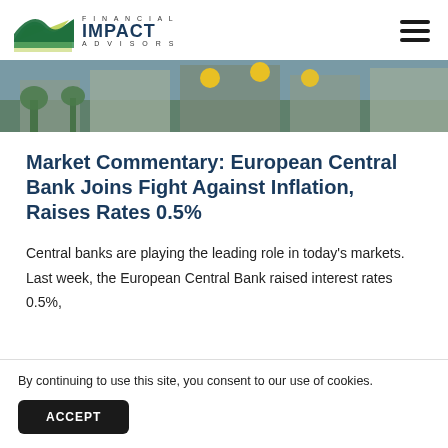Financial Impact Advisors
[Figure (photo): Hero banner image showing European Central Bank building with yellow stars flags]
Market Commentary: European Central Bank Joins Fight Against Inflation, Raises Rates 0.5%
Central banks are playing the leading role in today's markets. Last week, the European Central Bank raised interest rates 0.5%,
By continuing to use this site, you consent to our use of cookies.